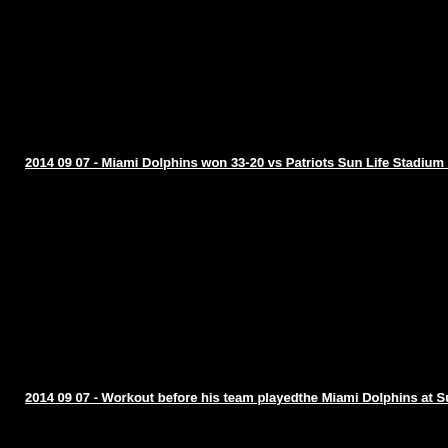2014 09 07 - Miami Dolphins won 33-20 vs Patriots Sun Life Stadium in Miami
2014 09 07 - Workout before his team playedthe Miami Dolphins at Sun Life